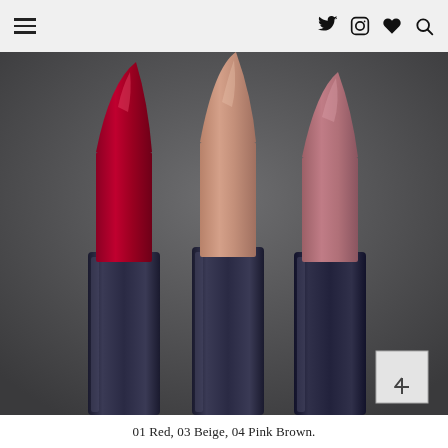Navigation header with menu icon and social/search icons (Twitter, Instagram, heart, search)
[Figure (photo): Close-up photograph of three lipsticks against a dark gray background. Left: deep red/crimson lipstick (01 Red). Center: muted beige/nude lipstick (03 Beige). Right: dusty pink-brown lipstick (04 Pink Brown). All three have pointed bullet tips and dark navy/black lipstick tubes.]
01 Red, 03 Beige, 04 Pink Brown.